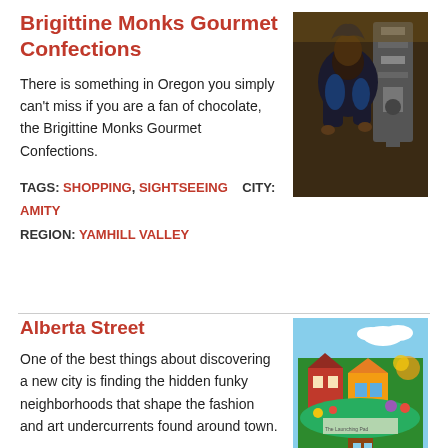Brigittine Monks Gourmet Confections
There is something in Oregon you simply can't miss if you are a fan of chocolate, the Brigittine Monks Gourmet Confections.
TAGS: SHOPPING, SIGHTSEEING   CITY: AMITY
REGION: YAMHILL VALLEY
[Figure (photo): Person in dark hoodie working with machinery in dim workshop setting]
Alberta Street
One of the best things about discovering a new city is finding the hidden funky neighborhoods that shape the fashion and art undercurrents found around town.
[Figure (photo): Colorful mural painted on the exterior of a building on Alberta Street, depicting folk art scenes with bright colors]